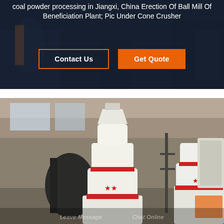coal powder processing in Jiangxi, China Erection Of Ball Mill Of Beneficiation Plant; Pic Under Cone Crusher
[Figure (screenshot): Two orange-outlined buttons on dark background: 'Contact Us' (outline only) and 'Get Quote' (orange fill)]
[Figure (photo): Industrial milling machines in a factory setting. Large white cylindrical cone crushers/ball mills with red accent bands and red star logos, inside a warehouse.]